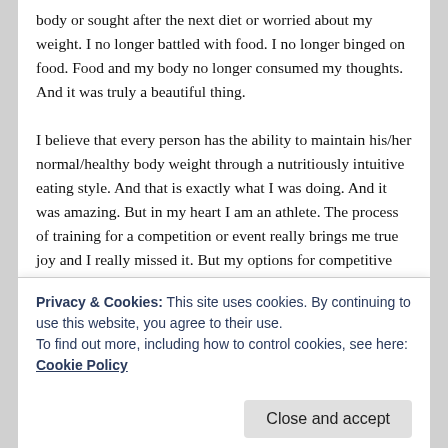body or sought after the next diet or worried about my weight. I no longer battled with food. I no longer binged on food. Food and my body no longer consumed my thoughts. And it was truly a beautiful thing.
I believe that every person has the ability to maintain his/her normal/healthy body weight through a nutritiously intuitive eating style. And that is exactly what I was doing. And it was amazing. But in my heart I am an athlete. The process of training for a competition or event really brings me true joy and I really missed it. But my options for competitive sports are somewhat limited at this point in my life. So with already being an IFBB Pro, competing in the IFBB figure division seemed like the most logical option. The only problem was, the style of eating required
Privacy & Cookies: This site uses cookies. By continuing to use this website, you agree to their use.
To find out more, including how to control cookies, see here: Cookie Policy
Close and accept
completely different way than I previously had done (and